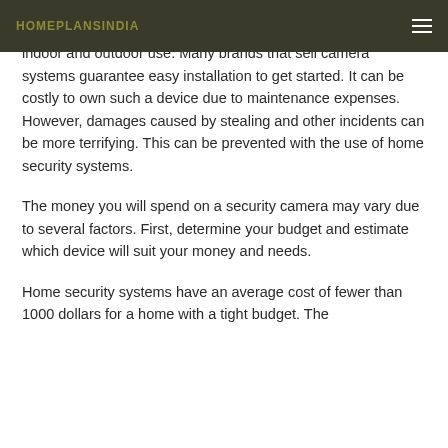HOMEPLANSINDIA
A home security system is a monitoring device suitable for indoor and outdoor use. Many brands that sell camera systems guarantee easy installation to get started. It can be costly to own such a device due to maintenance expenses. However, damages caused by stealing and other incidents can be more terrifying. This can be prevented with the use of home security systems.
The money you will spend on a security camera may vary due to several factors. First, determine your budget and estimate which device will suit your money and needs.
Home security systems have an average cost of fewer than 1000 dollars for a home with a tight budget. The